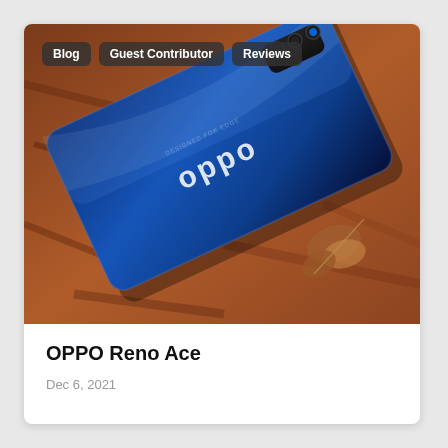[Figure (photo): OPPO Reno Ace smartphone lying on its back on a bed of wood chips and leaves, showing the blue glossy back with OPPO logo and triple camera module.]
Blog
Guest Contributor
Reviews
OPPO Reno Ace
Dec 6, 2021